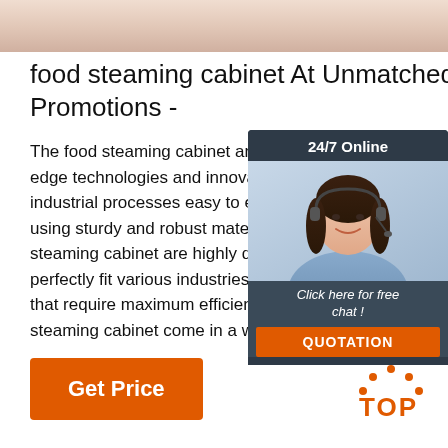[Figure (photo): Top banner image showing partial view of a person, skin tones visible, cropped at top of page]
food steaming cabinet At Unmatched Promotions -
The food steaming cabinet are full of cutting-edge technologies and innovations that make industrial processes easy to execute. Made using sturdy and robust materials, the food steaming cabinet are highly durable and perfectly fit various industries and businesses that require maximum efficiency. The food steaming cabinet come in a wide ...
[Figure (photo): Sidebar widget with dark background showing '24/7 Online', a photo of a smiling woman with headset, 'Click here for free chat!' text, and orange QUOTATION button]
[Figure (illustration): Orange TOP logo with dotted arch above the text TOP in orange]
Get Price